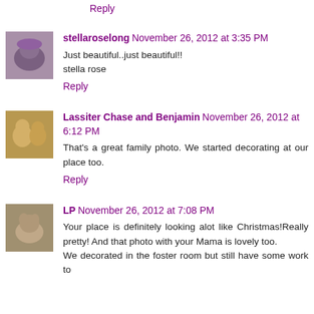Reply
[Figure (photo): Small avatar image of stellaroselong, showing a dog/animal with a purple hat]
stellaroselong  November 26, 2012 at 3:35 PM
Just beautiful..just beautiful!!
stella rose
Reply
[Figure (photo): Small avatar image of Lassiter Chase and Benjamin, showing two dogs]
Lassiter Chase and Benjamin  November 26, 2012 at 6:12 PM
That's a great family photo. We started decorating at our place too.
Reply
[Figure (photo): Small avatar image of LP, showing a cat]
LP  November 26, 2012 at 7:08 PM
Your place is definitely looking alot like Christmas!Really pretty! And that photo with your Mama is lovely too.
We decorated in the foster room but still have some work to